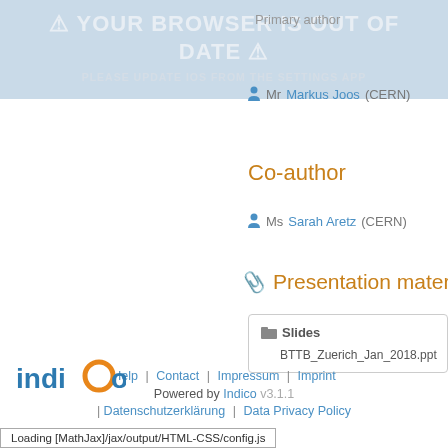[Figure (screenshot): Browser out-of-date warning banner with light blue background showing warning triangle icons and text]
Primary author
Mr Markus Joos (CERN)
Co-author
Ms Sarah Aretz (CERN)
Presentation materials
Slides
BTTB_Zuerich_Jan_2018.ppt
Help | Contact | Impressum | Imprint | Datenschutzerklärung | Data Privacy Policy
Powered by Indico v3.1.1
Loading [MathJax]/jax/output/HTML-CSS/config.js